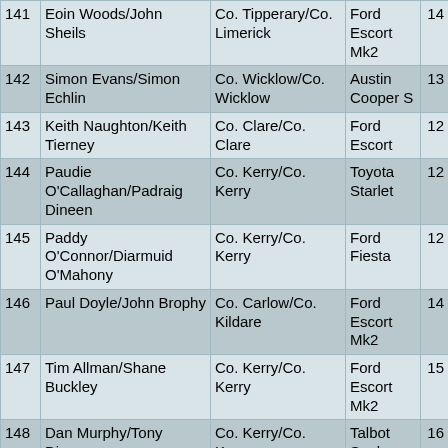| # | Driver/Co-driver | County | Car | Pts |
| --- | --- | --- | --- | --- |
| 141 | Eoin Woods/John Sheils | Co. Tipperary/Co. Limerick | Ford Escort Mk2 | 14 |
| 142 | Simon Evans/Simon Echlin | Co. Wicklow/Co. Wicklow | Austin Cooper S | 13 |
| 143 | Keith Naughton/Keith Tierney | Co. Clare/Co. Clare | Ford Escort | 12 |
| 144 | Paudie O'Callaghan/Padraig Dineen | Co. Kerry/Co. Kerry | Toyota Starlet | 12 |
| 145 | Paddy O'Connor/Diarmuid O'Mahony | Co. Kerry/Co. Kerry | Ford Fiesta | 12 |
| 146 | Paul Doyle/John Brophy | Co. Carlow/Co. Kildare | Ford Escort Mk2 | 14 |
| 147 | Tim Allman/Shane Buckley | Co. Kerry/Co. Kerry | Ford Escort Mk2 | 15 |
| 148 | Dan Murphy/Tony Dineen | Co. Kerry/Co. Kerry | Talbot Sunbeam | 16 |
| 149 | Ciaran Brogan/Jonathon Baird | Co. Londonderry/Co. London... | Ford Escort | 14 |